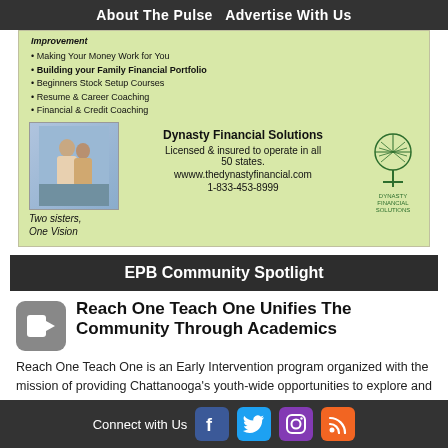About The Pulse  Advertise With Us
[Figure (illustration): Dynasty Financial Solutions advertisement with light green background. Lists: Making Your Money Work for You, Building your Family Financial Portfolio, Beginners Stock Setup Courses, Resume & Career Coaching, Financial & Credit Coaching. Shows photo of two women with caption 'Two sisters, One Vision'. Text: 'Dynasty Financial Solutions Licensed & insured to operate in all 50 states. wwww.thedynastyfinancial.com 1-833-453-8999'. Includes a tree logo.]
EPB Community Spotlight
Reach One Teach One Unifies The Community Through Academics
Reach One Teach One is an Early Intervention program organized with the mission of providing Chattanooga's youth-wide opportunities to explore and gain insight into their community, and career opportunities
Connect with Us